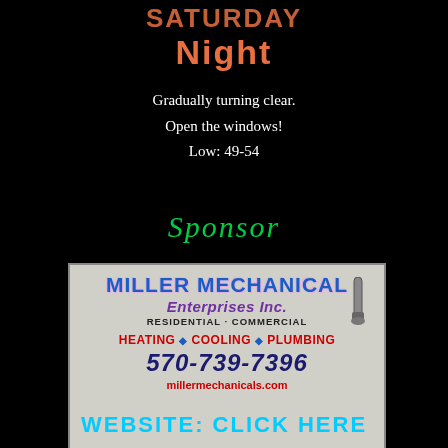Saturday Night
Gradually turning clear.
Open the windows!
Low: 49-54
Sponsor
[Figure (photo): Miller Mechanical Enterprises Inc. advertisement sign. Blue text 'MILLER MECHANICAL' on top, purple 'Enterprises Inc.', black 'RESIDENTIAL · COMMERCIAL', red 'HEATING ◆ COOLING ◆ PLUMBING', dark blue italic '570-739-7396', red 'millermechanicals.com']
WEBSITE: CLICK HERE